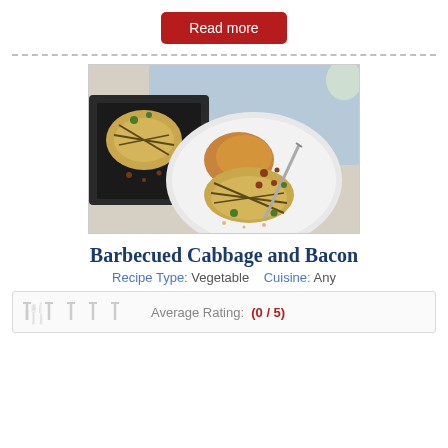Read more
[Figure (photo): Barbecued cabbage and bacon served on a white plate with herbs, alongside a baking tray]
Barbecued Cabbage and Bacon
Recipe Type: Vegetable    Cuisine: Any
Average Rating: (0 / 5)